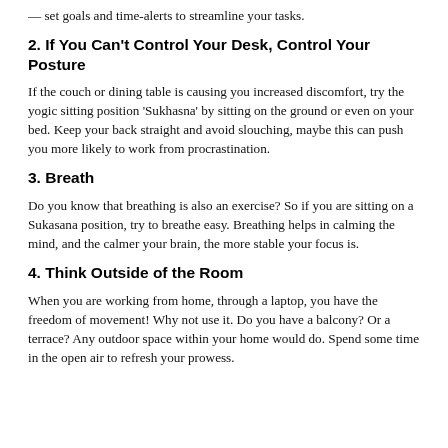— set goals and time-alerts to streamline your tasks.
2. If You Can't Control Your Desk, Control Your Posture
If the couch or dining table is causing you increased discomfort, try the yogic sitting position 'Sukhasna' by sitting on the ground or even on your bed. Keep your back straight and avoid slouching, maybe this can push you more likely to work from procrastination.
3. Breath
Do you know that breathing is also an exercise? So if you are sitting on a Sukasana position, try to breathe easy. Breathing helps in calming the mind, and the calmer your brain, the more stable your focus is.
4. Think Outside of the Room
When you are working from home, through a laptop, you have the freedom of movement! Why not use it. Do you have a balcony? Or a terrace? Any outdoor space within your home would do. Spend some time in the open air to refresh your prowess.